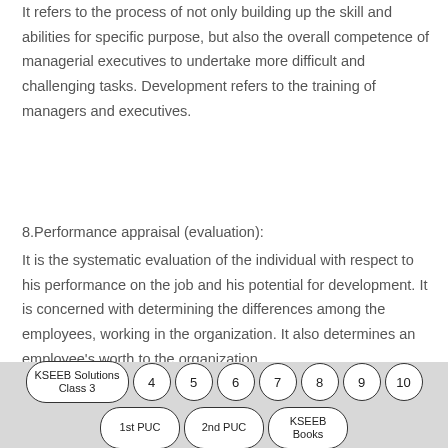It refers to the process of not only building up the skill and abilities for specific purpose, but also the overall competence of managerial executives to undertake more difficult and challenging tasks. Development refers to the training of managers and executives.
8.Performance appraisal (evaluation):
It is the systematic evaluation of the individual with respect to his performance on the job and his potential for development. It is concerned with determining the differences among the employees, working in the organization. It also determines an employee's worth to the organization.
KSEEB Solutions Class 3  4  5  6  7  8  9  10  1st PUC  2nd PUC  KSEEB Books